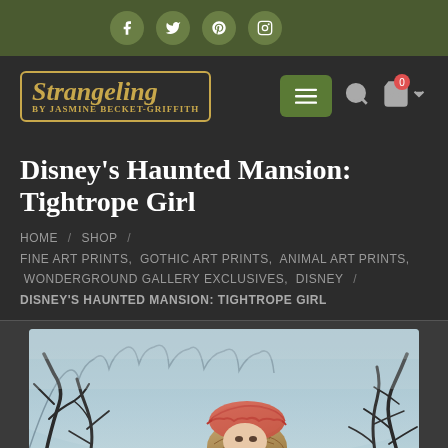Social media icons: Facebook, Twitter, Pinterest, Instagram
[Figure (logo): Strangeling by Jasmine Becket-Griffith logo in ornate serif font with decorative border]
Disney's Haunted Mansion: Tightrope Girl
HOME / SHOP / FINE ART PRINTS, GOTHIC ART PRINTS, ANIMAL ART PRINTS, WONDERGROUND GALLERY EXCLUSIVES, DISNEY / DISNEY'S HAUNTED MANSION: TIGHTROPE GIRL
[Figure (illustration): Painting of a figure with reddish-pink hat/hood and light brown hair against a misty blue-grey forest background with dark gnarled branches]